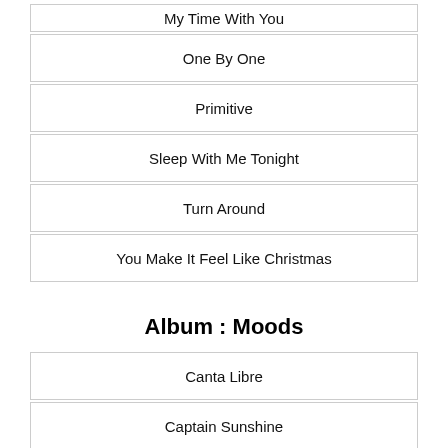My Time With You
One By One
Primitive
Sleep With Me Tonight
Turn Around
You Make It Feel Like Christmas
Album : Moods
Canta Libre
Captain Sunshine
Gitchy Goomy
High Rolling Man